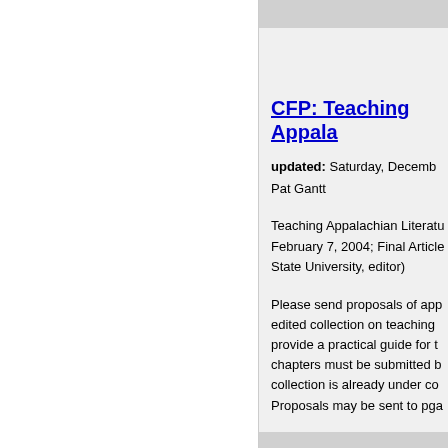CFP: Teaching Appala...
updated: Saturday, Decemb...
Pat Gantt
Teaching Appalachian Literatu... February 7, 2004; Final Article... State University, editor)
Please send proposals of app... edited collection on teaching... provide a practical guide for t... chapters must be submitted b... collection is already under co... Proposals may be sent to pga...
CFP: (Dis)Integration...